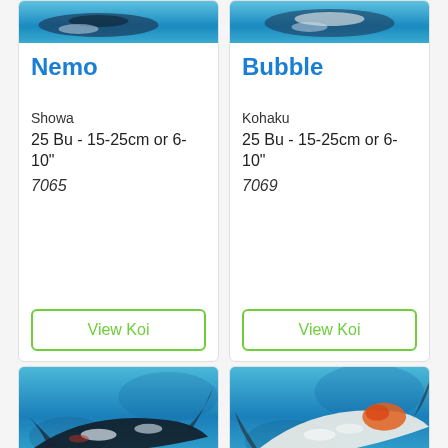[Figure (photo): Koi fish named Nemo (Showa) photographed in blue water from above, top portion visible]
Nemo
Showa
25 Bu - 15-25cm or 6-10"
7065
View Koi
[Figure (photo): Koi fish named Bubble (Kohaku) photographed in blue water from above, top portion visible]
Bubble
Kohaku
25 Bu - 15-25cm or 6-10"
7069
View Koi
[Figure (photo): Koi fish (Showa/dark coloring) in blue water, bottom card left, partial view]
[Figure (photo): Koi fish with orange head marking (Kohaku type) in blue water, bottom card right, partial view]